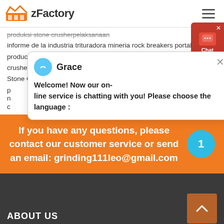[Figure (logo): zFactory logo with orange factory icon and bold text 'zFactory']
produksi stone crusherpelaksanaan
informe de la industria trituradora mineria rock breakers portable
production process of concrete
crusher manufacturers machine quarry biggest mine in the world
Stone Crusher For Sale In United States jaw crusher supplier in du...
[Figure (screenshot): Live chat widget popup with avatar of Grace and message: Welcome! Now our on-line service is chatting with you! Please choose the language :]
If you have any questions, please contact our customer service or send an email: grinding111leo@gmail.com
ABOUT US